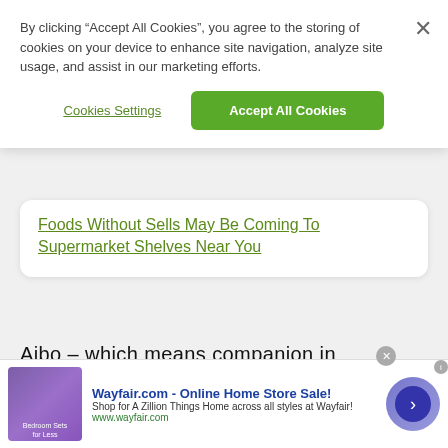By clicking “Accept All Cookies”, you agree to the storing of cookies on your device to enhance site navigation, analyze site usage, and assist in our marketing efforts.
Cookies Settings
Accept All Cookies
Foods Without Sells May Be Coming To Supermarket Shelves Near You
Aibo – which means companion in Japanese – refers to Sony’s line of robot dogs, the latest costing $2,000 plus extra each month to store data in the cloud. Futaba told Adams that his wife objected to the cost
Wayfair.com - Online Home Store Sale! Shop for A Zillion Things Home across all styles at Wayfair! www.wayfair.com